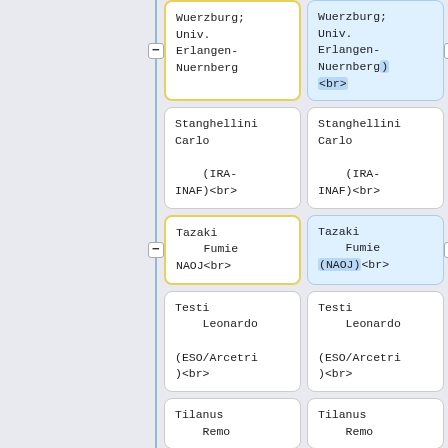Wuerzburg; Univ. Erlangen-Nuernberg
Wuerzburg; Univ. Erlangen-Nuernberg) <br>
Stanghellini Carlo (IRA-INAF)<br>
Stanghellini Carlo (IRA-INAF)<br>
Tazaki Fumie NAOJ<br>
Tazaki Fumie (NAOJ)<br>
Testi Leonardo (ESO/Arcetri)<br>
Testi Leonardo (ESO/Arcetri)<br>
Tilanus Remo
Tilanus Remo